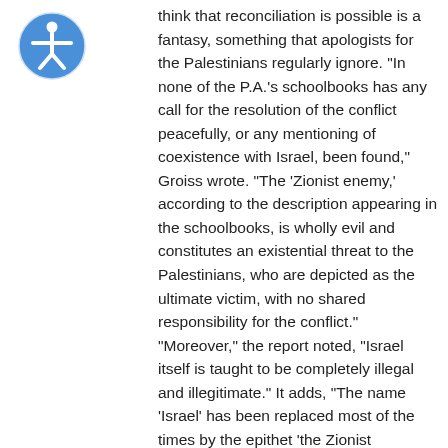[Figure (logo): Blue circle with white accessibility icon (person with arms outstretched) in the top-left corner]
think that reconciliation is possible is a fantasy, something that apologists for the Palestinians regularly ignore. “In none of the P.A.’s schoolbooks has any call for the resolution of the conflict peacefully, or any mentioning of coexistence with Israel, been found,” Groiss wrote. “The ‘Zionist enemy,’ according to the description appearing in the schoolbooks, is wholly evil and constitutes an existential threat to the Palestinians, who are depicted as the ultimate victim, with no shared responsibility for the conflict.” “Moreover,” the report noted, “Israel itself is taught to be completely illegal and illegitimate.” It adds, “The name ‘Israel’ has been replaced most of the times by the epithet ‘the Zionist occupation.’” “The struggle against the State of Israel has thus become a struggle against Zionism that is perceived as a mythical and a wholly evil entity, which